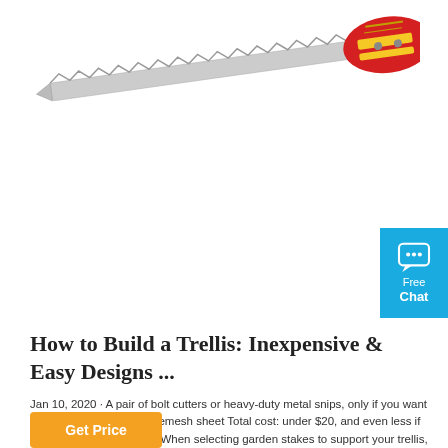[Figure (photo): A folding pruning saw with serrated blade, red and yellow handle, shown diagonally across the top of the page.]
[Figure (infographic): A cyan/blue chat widget button on the right edge showing a speech bubble icon with 'Free Chat' text.]
How to Build a Trellis: Inexpensive & Easy Designs ...
Jan 10, 2020 · A pair of bolt cutters or heavy-duty metal snips, only if you want to modify the size of the remesh sheet Total cost: under $20, and even less if you already have stakes. When selecting garden stakes to support your trellis, choose stakes that are tall enough toe up at least 2/3rd the finished height of the trellis (once in the ground).
Get Price